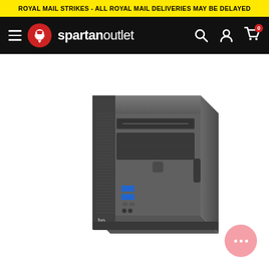ROYAL MAIL STRIKES - ALL ROYAL MAIL DELIVERIES MAY BE DELAYED
spartan outlet — navigation bar with hamburger menu, logo, search, account, and cart icons
[Figure (photo): HP EliteDesk small form factor desktop computer tower in dark grey/black color, viewed from a front-left angle showing front panel with optical drive bay, USB 3.0 ports, audio ports, and HP logo on the bottom front.]